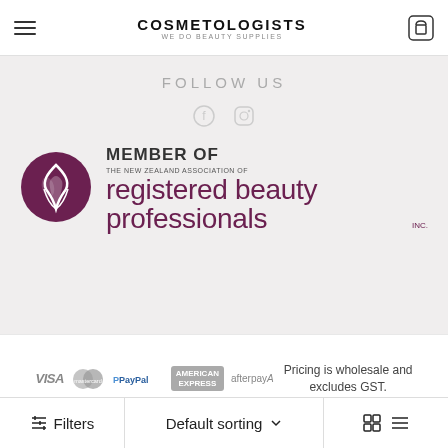COSMETOLOGISTS — WE DO BEAUTY SUPPLIES
FOLLOW US
[Figure (logo): New Zealand Association of Registered Beauty Professionals Inc. member logo — circular dark maroon emblem with flame/ribbon motif, with text MEMBER OF / THE NEW ZEALAND ASSOCIATION OF / registered beauty professionals / INC.]
[Figure (logo): Payment method logos: VISA, Mastercard, PayPal, American Express, Afterpay]
Pricing is wholesale and excludes GST.
Filters | Default sorting | view toggle